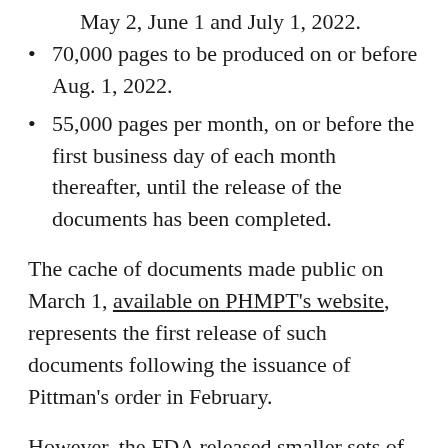May 2, June 1 and July 1, 2022.
70,000 pages to be produced on or before Aug. 1, 2022.
55,000 pages per month, on or before the first business day of each month thereafter, until the release of the documents has been completed.
The cache of documents made public on March 1, available on PHMPT’s website, represents the first release of such documents following the issuance of Pittman’s order in February.
However, the FDA released smaller sets of documents in November and December 2021 and January 2022, while the legal case was ongoing.